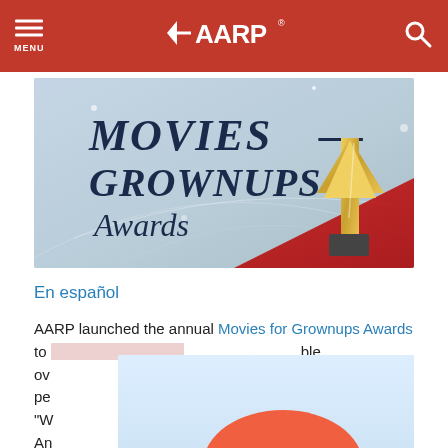MENU | AARP | Search
[Figure (photo): AARP Movies for Grownups Awards banner image showing the award text and a golden trophy award statue on a red carpet]
En español
AARP launched the annual Movies for Grownups Awards to celebrate people over 50 who perform... "W... An... gro... mo...
[Figure (photo): A smiling Black woman wearing an orange hat and swimsuit at the beach, holding her hat with one hand]